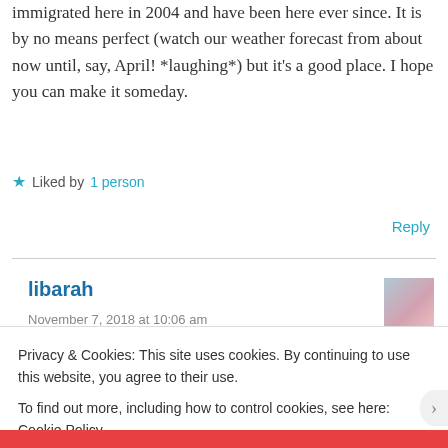immigrated here in 2004 and have been here ever since. It is by no means perfect (watch our weather forecast from about now until, say, April! *laughing*) but it's a good place. I hope you can make it someday.
★ Liked by 1 person
Reply
libarah
November 7, 2018 at 10:06 am
Privacy & Cookies: This site uses cookies. By continuing to use this website, you agree to their use.
To find out more, including how to control cookies, see here: Cookie Policy
Close and accept